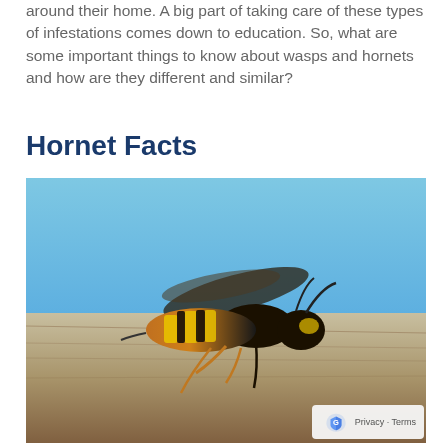around their home. A big part of taking care of these types of infestations comes down to education. So, what are some important things to know about wasps and hornets and how are they different and similar?
Hornet Facts
[Figure (photo): Close-up photograph of a yellow and black hornet/wasp resting on a piece of weathered wood, with a blue sky background. The insect has distinctive yellow and black banding on its abdomen and is shown in profile view.]
Privacy · Terms